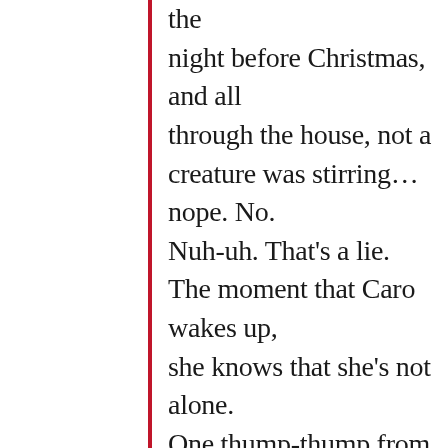the night before Christmas, and all through the house, not a creature was stirring...nope. No. Nuh-uh. That's a lie. The moment that Caro wakes up, she knows that she's not alone. One thump-thump from the living room and she quickly moves into action. One 9-1-1 call later, and she's ready to defend herself. Only, she gets more than she bargains for when she steps out into her living room and comes face to face with a distin...